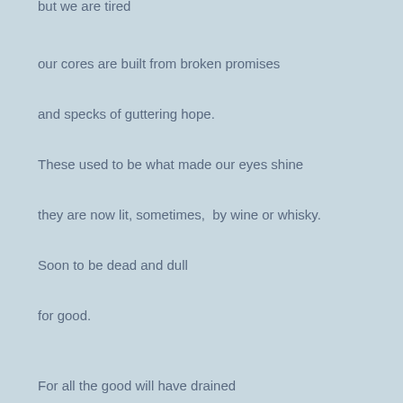but we are tired
our cores are built from broken promises
and specks of guttering hope.
These used to be what made our eyes shine
they are now lit, sometimes,  by wine or whisky.
Soon to be dead and dull
for good.
For all the good will have drained
from even the most optimistic minds.
Optimism thrives
when possibilities are many